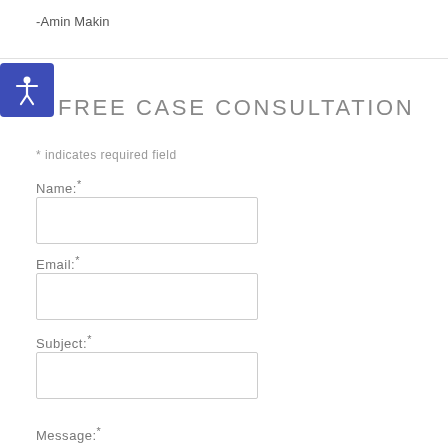-Amin Makin
FREE CASE CONSULTATION
* indicates required field
Name:*
Email:*
Subject:*
Message:*